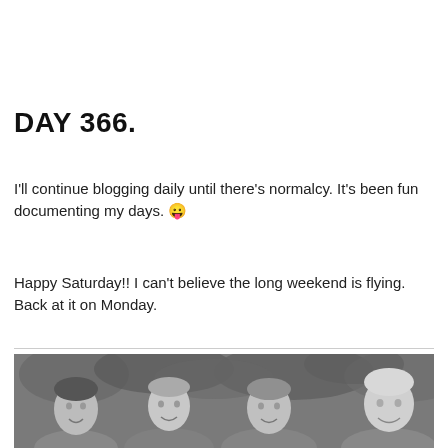DAY 366.
I'll continue blogging daily until there's normalcy. It's been fun documenting my days. 😛
Happy Saturday!! I can't believe the long weekend is flying. Back at it on Monday.
[Figure (photo): Black and white group photo of four young men outdoors with trees/foliage in background, all smiling at the camera.]